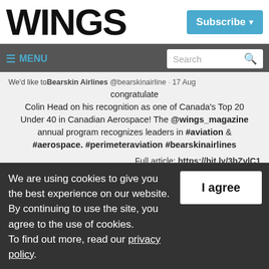WINGS
Subscribe ▾
≡ MENU  |  Search
We'd like to congratulate Bearskin Airlines @bearskinairline · 17 Aug congratulate Colin Head on his recognition as one of Canada's Top 20 Under 40 in Canadian Aerospace! The @wings_magazine annual program recognizes leaders in #aviation & #aerospace. #perimeteraviation #bearskinairlines

Full article: https://bit.ly/3bZvlC1

Twitter
We are using cookies to give you the best experience on our website.
By continuing to use the site, you agree to the use of cookies.
To find out more, read our privacy policy.
I agree